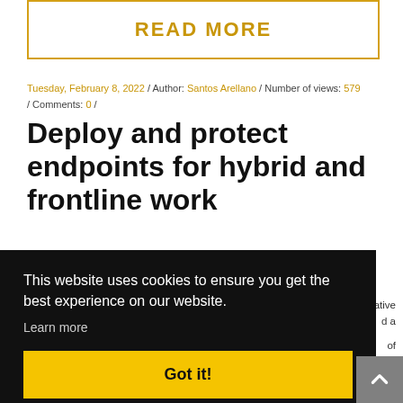READ MORE
Tuesday, February 8, 2022 / Author: Santos Arellano / Number of views: 579 / Comments: 0 /
Deploy and protect endpoints for hybrid and frontline work
rative d a of t ice
support, automatic enrollment, configured shared devices,
This website uses cookies to ensure you get the best experience on our website.
Learn more
Got it!